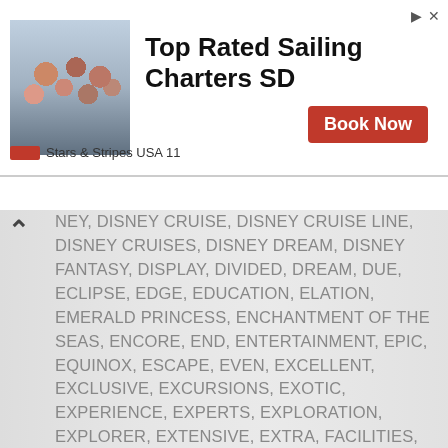[Figure (photo): Advertisement banner: group photo of people on the left, bold text 'Top Rated Sailing Charters SD' in center, red 'Book Now' button on right, Stars & Stripes USA 11 logo below]
NEY, DISNEY CRUISE, DISNEY CRUISE LINE, DISNEY CRUISES, DISNEY DREAM, DISNEY FANTASY, DISPLAY, DIVIDED, DREAM, DUE, ECLIPSE, EDGE, EDUCATION, ELATION, EMERALD PRINCESS, ENCHANTMENT OF THE SEAS, ENCORE, END, ENTERTAINMENT, EPIC, EQUINOX, ESCAPE, EVEN, EXCELLENT, EXCLUSIVE, EXCURSIONS, EXOTIC, EXPERIENCE, EXPERTS, EXPLORATION, EXPLORER, EXTENSIVE, EXTRA, FACILITIES, FALL, FAMILIES, FANTASY, FAR, FASCINATION, FAVORITE, FEWER, FIREWORKS, FIREWORKS DISPLAY, FLOATING, FLYER, FOUND, FREE, FREEDOM, GALAPAGOS, GEM, GEOGRAPHY, GETAWAY, GLORY, GOLDEN, GOOD, GRAND, GRAND PRINCESS, GRANDEUR OF THE SEAS, HIGH, HISTORY, HOLLAND, HOLLAND AMERICA, HOLLAND AMERICA LINE, HORIZON, HOSPITALITY NEWS, II, IMAGINATION, IMPORTANT, IMPRESSION, IN, INCLUDING, INCLUSIVE, INCREASED, INDEPENDENCE, INDEPENDENCE OF THE SEAS, INFORMATION, INSPIRATION, INSTRUCTORS, INTERNATIONAL, INTERNATIONAL TRAVEL NEWS, ISLAND, IT, ITINERARIES, JOURNEY, JOY, KEY, L, LEARNING, LEGS, LIKE, LIKELY, LIMITED, LINE, LINES, LOOKING